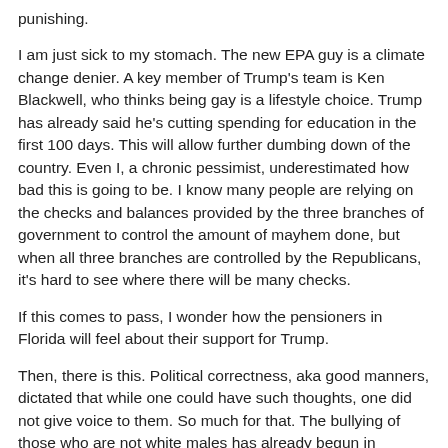punishing.
I am just sick to my stomach.  The new EPA guy is a climate change denier.  A key member of Trump's team is Ken Blackwell, who thinks being gay is a lifestyle choice.  Trump has already said he's cutting spending for education in the first 100 days.  This will allow further dumbing down of the country.  Even I, a chronic pessimist, underestimated how bad this is going to be.  I know many people are relying on the checks and balances provided by the three branches of government to control the amount of mayhem done, but when all three branches are controlled by the Republicans, it's hard to see where there will be many checks.
If this comes to pass, I wonder how the pensioners in Florida will feel about their support for Trump.
Then, there is this.  Political correctness, aka good manners, dictated that while one could have such thoughts, one did not give voice to them.  So much for that.  The bullying of those who are not white males has already begun in schools and on the streets.